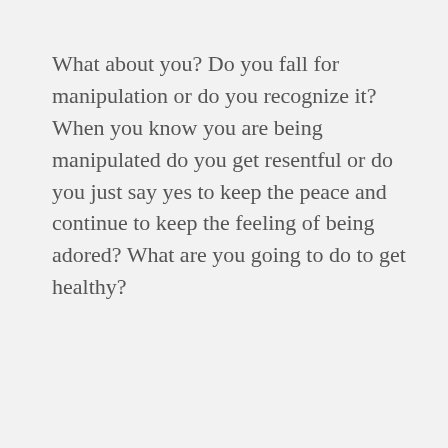What about you? Do you fall for manipulation or do you recognize it? When you know you are being manipulated do you get resentful or do you just say yes to keep the peace and continue to keep the feeling of being adored? What are you going to do to get healthy?